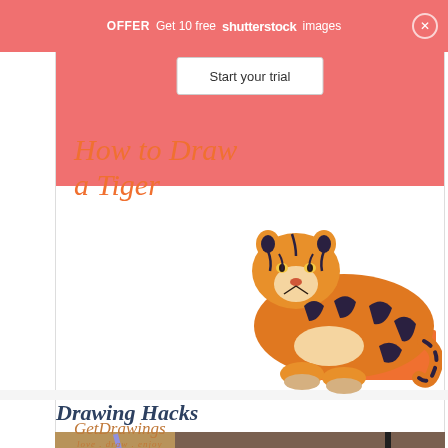OFFER  Get 10 free shutterstock images
[Figure (illustration): How to Draw a Tiger tutorial card with orange salmon-colored banner at top, decorative italic orange title text 'How to Draw a Tiger', GetDrawings logo at bottom left, and a realistic illustrated tiger lying down on the right side]
Start your trial
View all
Drawing Hacks
[Figure (photo): Partial photo at bottom showing a hand drawing or coloring, with colored pencils and a sketchbook visible on a corkboard surface]